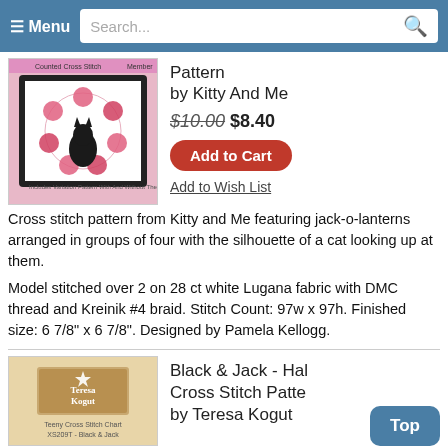≡ Menu   Search...
[Figure (photo): Cross stitch pattern book cover showing a cat silhouette surrounded by floral mandala-like arrangement on pink/tan background]
Pattern
by Kitty And Me
$10.00 $8.40
Add to Cart
Add to Wish List
Cross stitch pattern from Kitty and Me featuring jack-o-lanterns arranged in groups of four with the silhouette of a cat looking up at them.
Model stitched over 2 on 28 ct white Lugana fabric with DMC thread and Kreinik #4 braid. Stitch Count: 97w x 97h. Finished size: 6 7/8" x 6 7/8". Designed by Pamela Kellogg.
[Figure (photo): Teresa Kogut cross stitch chart book cover, labeled 'Teeny Cross Stitch Chart XS209T - Black & Jack']
Black & Jack - Hal Cross Stitch Patte by Teresa Kogut